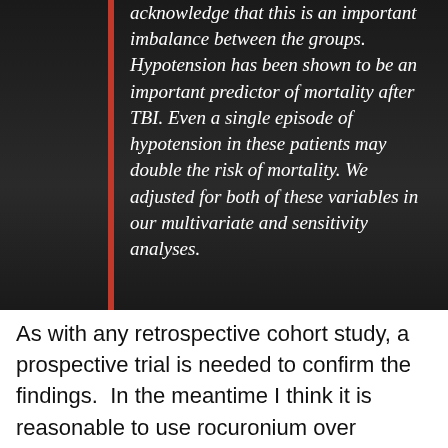acknowledge that this is an important imbalance between the groups. Hypotension has been shown to be an important predictor of mortality after TBI. Even a single episode of hypotension in these patients may double the risk of mortality. We adjusted for both of these variables in our multivariate and sensitivity analyses.
As with any retrospective cohort study, a prospective trial is needed to confirm the findings.  In the meantime I think it is reasonable to use rocuronium over succinylcholine for RSI in severely injured head trauma patients if the excess duration